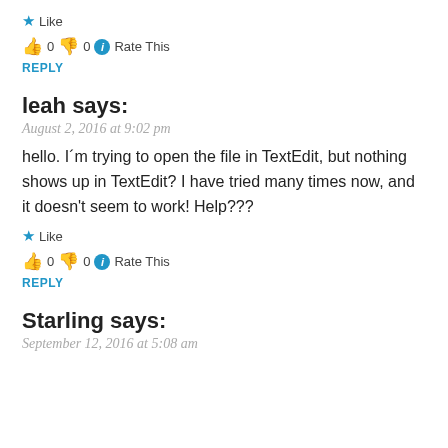★ Like
👍 0 👎 0 ℹ Rate This
REPLY
leah says:
August 2, 2016 at 9:02 pm
hello. I´m trying to open the file in TextEdit, but nothing shows up in TextEdit? I have tried many times now, and it doesn't seem to work! Help???
★ Like
👍 0 👎 0 ℹ Rate This
REPLY
Starling says:
September 12, 2016 at 5:08 am